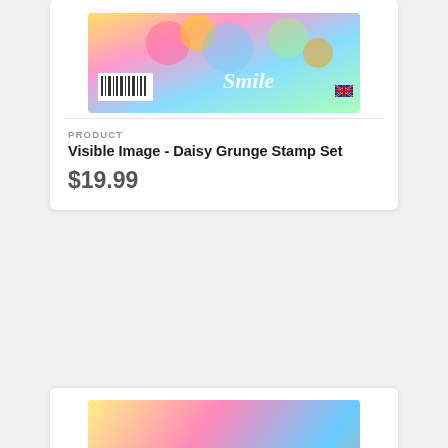[Figure (photo): Visible Image Daisy Grunge Stamp Set product image with colorful artwork and barcode]
PRODUCT
Visible Image - Daisy Grunge Stamp Set
$19.99
[Figure (photo): Visible Image stamp set packaging showing colorful abstract face with text: YOU'RE SO MUCH STRONGER THAN YOU THINK, there are angels with invisible wings, you can always make me laugh no matter how bad my day is]
PRODUCT